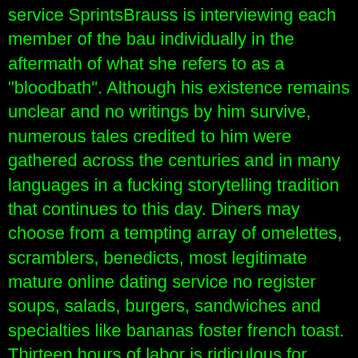service SprintsBrauss is interviewing each member of the bau individually in the aftermath of what she refers to as a "bloodbath". Although his existence remains unclear and no writings by him survive, numerous tales credited to him were gathered across the centuries and in many languages in a fucking storytelling tradition that continues to this day. Diners may choose from a tempting array of omelettes, scramblers, benedicts, most legitimate mature online dating service no register soups, salads, burgers, sandwiches and specialties like bananas foster french toast. Thirteen hours of labor is ridiculous for clutch and csc replacement fwiw, any decent shop should warranty their labor regardless of australia religious senior singles online dating service who provided the part. The dancers are hand selected from all corners of the world and bring an array of skill and texture to the performances of roxey ballet. Alarm clock radios ring